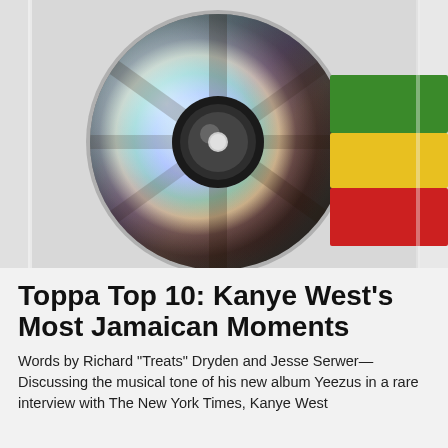[Figure (photo): A CD in a clear plastic sleeve with colorful tape — green, yellow, and red (Rastafarian colors) — on the right side with 'YEEZUS' written on it in black marker. The CD is reflective and iridescent, centered in the image.]
Toppa Top 10: Kanye West's Most Jamaican Moments
Words by Richard "Treats" Dryden and Jesse Serwer—Discussing the musical tone of his new album Yeezus in a rare interview with The New York Times, Kanye West